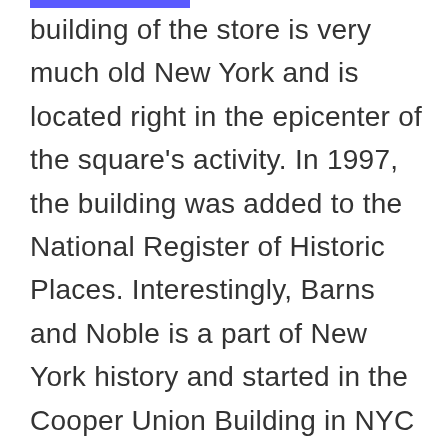building of the store is very much old New York and is located right in the epicenter of the square's activity. In 1997, the building was added to the National Register of Historic Places. Interestingly, Barns and Noble is a part of New York history and started in the Cooper Union Building in NYC in 1886.